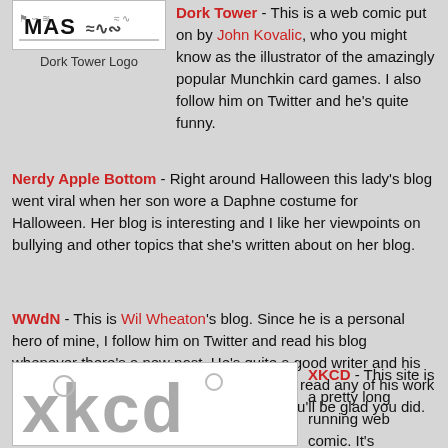[Figure (logo): Dork Tower Logo - black and white illustrated logo]
Dork Tower Logo
Dork Tower - This is a web comic put on by John Kovalic, who you might know as the illustrator of the amazingly popular Munchkin card games. I also follow him on Twitter and he's quite funny.
Nerdy Apple Bottom - Right around Halloween this lady's blog went viral when her son wore a Daphne costume for Halloween. Her blog is interesting and I like her viewpoints on bullying and other topics that she's written about on her blog.
WWdN - This is Wil Wheaton's blog. Since he is a personal hero of mine, I follow him on Twitter and read his blog whenever there's a new post. He's quite a good writer and his posts are all very interesting. If you haven't read any of his work (books, short stories, blog), check it out, you'll be glad you did.
[Figure (logo): XKCD logo - large stylized letters]
XKCD - This site is a pretty long running web comic. It's